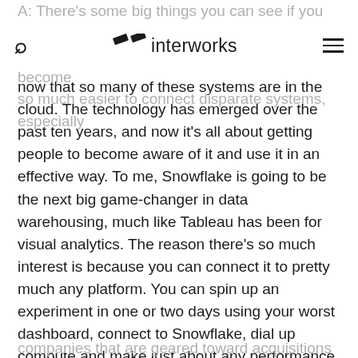A: There's some big things you can see if you look over the company's performance over time It's become so much easier to connect disparate systems, especially
interworks [search icon] [menu icon]
now that so many of these systems are in the cloud. The technology has emerged over the past ten years, and now it's all about getting people to become aware of it and use it in an effective way. To me, Snowflake is going to be the next big game-changer in data warehousing, much like Tableau has been for visual analytics. The reason there's so much interest is because you can connect it to pretty much any platform. You can spin up an experiment in one or two days using your worst dashboard, connect to Snowflake, dial up compute and make just about any performance issue disappear. Snowflake's latest release also makes it possible to for users to connect across AWS, Azure and Google Cloud. It all just works. This is great for
companies that are geared toward acquisitions and